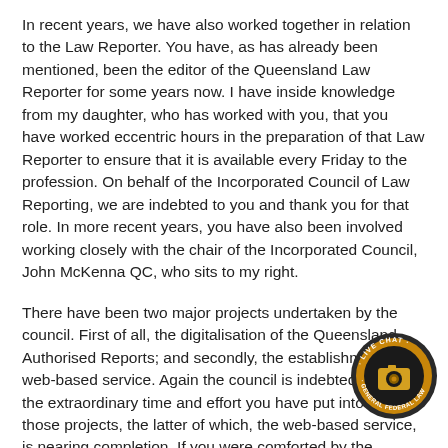In recent years, we have also worked together in relation to the Law Reporter. You have, as has already been mentioned, been the editor of the Queensland Law Reporter for some years now. I have inside knowledge from my daughter, who has worked with you, that you have worked eccentric hours in the preparation of that Law Reporter to ensure that it is available every Friday to the profession. On behalf of the Incorporated Council of Law Reporting, we are indebted to you and thank you for that role. In more recent years, you have also been involved working closely with the chair of the Incorporated Council, John McKenna QC, who sits to my right.
There have been two major projects undertaken by the council. First of all, the digitalisation of the Queensland Authorised Reports; and secondly, the establishment of a web-based service. Again the council is indebted to you for the extraordinary time and effort you have put into both those projects, the latter of which, the web-based service, is nearing completion. If you were comforted by the thought that your appointment would, by necessity, reduce your time commitments, be assured, I am told, that your good wife Sarah will, I expect, in part use that spare time in lecturing or tutoring students and your alma mater, the University of Queensland, or, indeed, judging what can be
[Figure (logo): Live Chat - General Federal Law circular badge/logo with gold ring and camera icon]